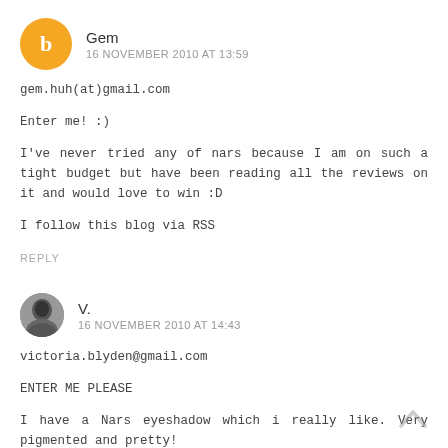Gem
16 NOVEMBER 2010 AT 13:59
gem.huh(at)gmail.com
Enter me! :)
I've never tried any of nars because I am on such a tight budget but have been reading all the reviews on it and would love to win :D
I follow this blog via RSS
REPLY
V.
16 NOVEMBER 2010 AT 14:43
victoria.blyden@gmail.com
ENTER ME PLEASE
I have a Nars eyeshadow which i really like. Very pigmented and pretty!